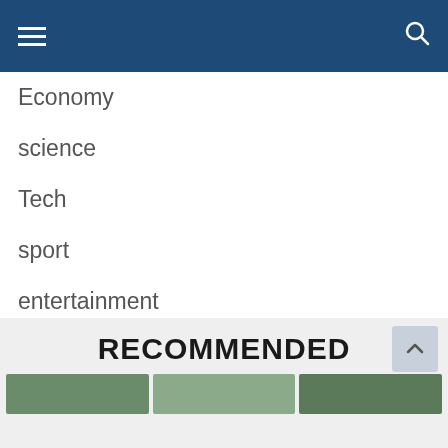Navigation bar with hamburger menu and search icon
Economy
science
Tech
sport
entertainment
Pages
Home
RECOMMENDED
[Figure (photo): Three thumbnail images at the bottom of the page in a recommended section]